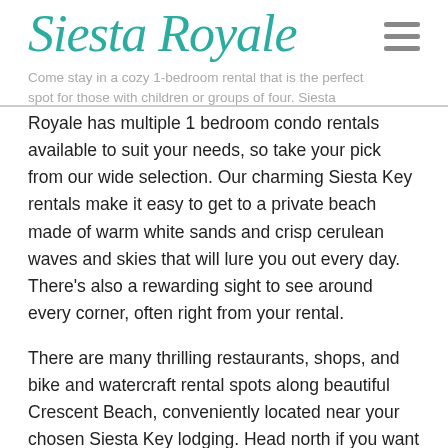Siesta Royale
Come stay in a cozy 1-bedroom rental that is the perfect spot for those with children or groups of four.  Siesta Royale has multiple 1 bedroom condo rentals available to suit your needs, so take your pick from our wide selection. Our charming Siesta Key rentals make it easy to get to a private beach made of warm white sands and crisp cerulean waves and skies that will lure you out every day. There's also a rewarding sight to see around every corner, often right from your rental.
There are many thrilling restaurants, shops, and bike and watercraft rental spots along beautiful Crescent Beach, conveniently located near your chosen Siesta Key lodging. Head north if you want to visit the historic city of Sarasota. Venture further north and you will discover the St. Armands Circle and Longboat Key. Your rental also has plenty of fabulous amenities which include: